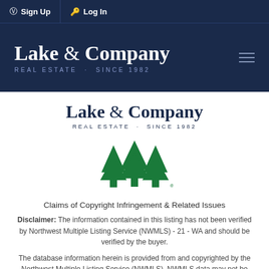Sign Up | Log In
[Figure (logo): Lake & Company Real Estate Since 1982 logo on dark blue banner header]
[Figure (logo): Lake & Company Real Estate Since 1982 logo on white background]
[Figure (logo): Northwest Multiple Listing Service (NWMLS) green tree logo]
Claims of Copyright Infringement & Related Issues
Disclaimer: The information contained in this listing has not been verified by Northwest Multiple Listing Service (NWMLS) - 21 - WA and should be verified by the buyer.
The database information herein is provided from and copyrighted by the Northwest Multiple Listing Service (NWMLS). NWMLS data may not be reproduced or